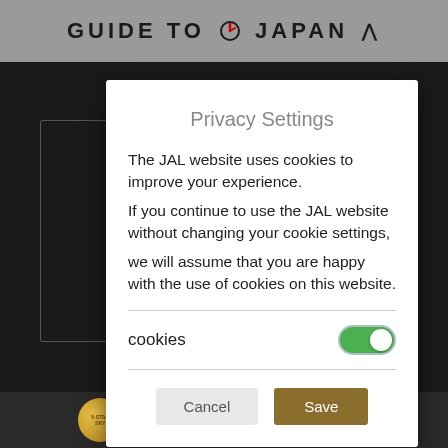GUIDE TO JAPAN ^
Privacy Settings
The JAL website uses cookies to improve your experience.
If you continue to use the JAL website without changing your cookie settings,
we will assume that you are happy with the use of cookies on this website.
cookies
Cancel
Save
SKYTRAX 5-STAR AIRLINE